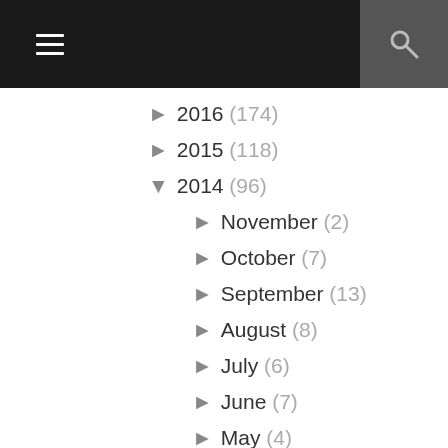Navigation bar with menu and search icons
► 2016 (174)
► 2015 (118)
▼ 2014 (96)
► November (2)
► October (7)
► September (13)
► August (8)
► July (6)
► June (7)
► May (4)
► April (6)
▼ March (15)
Adventure Between the Pages: Maelyn by Anita Valle